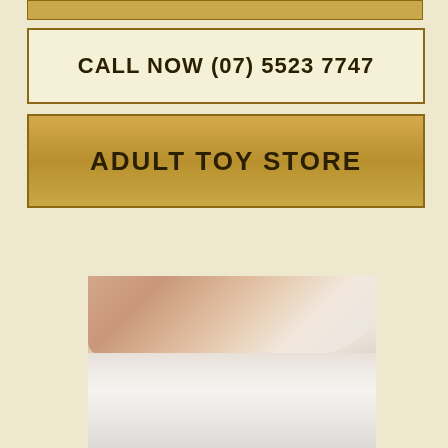CALL NOW (07) 5523 7747
ADULT TOY STORE
[Figure (photo): Close-up photo of a person's neck/collarbone area wearing a white undergarment with small decorative prints]